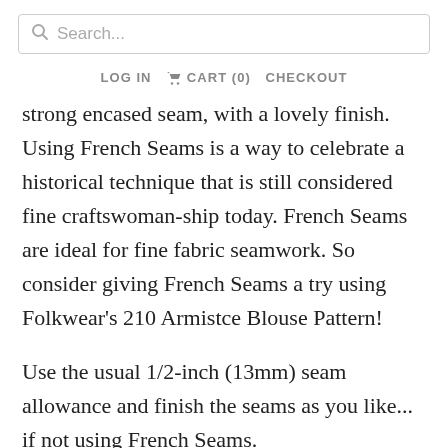Search...
LOG IN   CART (0)   CHECKOUT
strong encased seam, with a lovely finish. Using French Seams is a way to celebrate a historical technique that is still considered fine craftswoman-ship today. French Seams are ideal for fine fabric seamwork. So consider giving French Seams a try using Folkwear’s 210 Armistce Blouse Pattern!
Use the usual 1/2-inch (13mm) seam allowance and finish the seams as you like... if not using French Seams.
Note: French seams are not used for all sewing